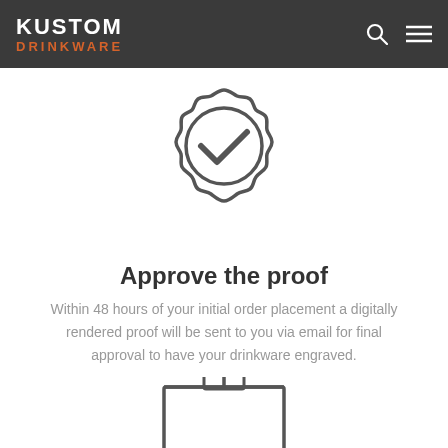KUSTOM DRINKWARE
[Figure (illustration): Badge/seal icon with a checkmark in the center, drawn in a dark gray outline style]
Approve the proof
Within 48 hours of your initial order placement a digitally rendered proof will be sent to you via email for final approval to have your drinkware engraved.
[Figure (illustration): Partially visible box/package icon at the bottom of the page, drawn in dark gray outline style]